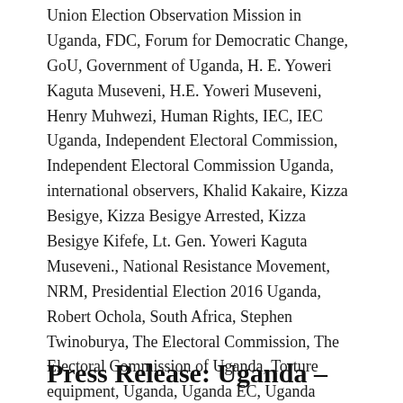Union Election Observation Mission in Uganda, FDC, Forum for Democratic Change, GoU, Government of Uganda, H. E. Yoweri Kaguta Museveni, H.E. Yoweri Museveni, Henry Muhwezi, Human Rights, IEC, IEC Uganda, Independent Electoral Commission, Independent Electoral Commission Uganda, international observers, Khalid Kakaire, Kizza Besigye, Kizza Besigye Arrested, Kizza Besigye Kifefe, Lt. Gen. Yoweri Kaguta Museveni., National Resistance Movement, NRM, Presidential Election 2016 Uganda, Robert Ochola, South Africa, Stephen Twinoburya, The Electoral Commission, The Electoral Commission of Uganda, Torture equipment, Uganda, Uganda EC, Uganda Electoral Commission, Uganda General Election 2016, Uganda Presidential Election 2016, Ugandan, Yoweri Kaguta Museveni, Yoweri Museveni / Leave a comment
Press Release: Uganda –